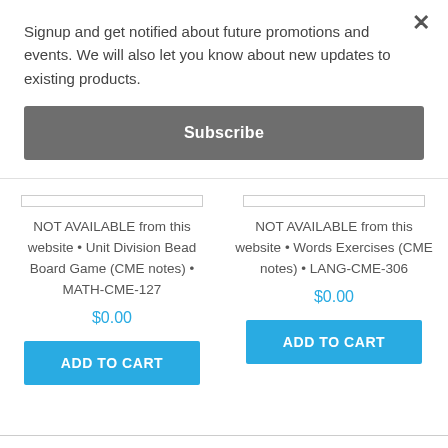Signup and get notified about future promotions and events. We will also let you know about new updates to existing products.
Subscribe
NOT AVAILABLE from this website • Unit Division Bead Board Game (CME notes) • MATH-CME-127
$0.00
NOT AVAILABLE from this website • Words Exercises (CME notes) • LANG-CME-306
$0.00
ADD TO CART
ADD TO CART